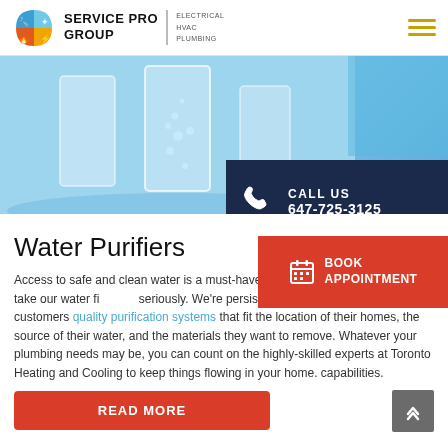Service Pro Group | Electrical HVAC Plumbing
[Figure (photo): Water purification glasses with bubbling water on blue background, hero banner image]
CALL US 647-725-3125
Water Purifiers
BOOK APPOINTMENT
Access to safe and clean water is a must-have in any home, and that's why we take our water filtration seriously. We're persistent in offering our Toronto customers quality purification systems that fit the location of their homes, the source of their water, and the materials they want to remove. Whatever your plumbing needs may be, you can count on the highly-skilled experts at Toronto Heating and Cooling to keep things flowing in your home. capabilities.
READ MORE